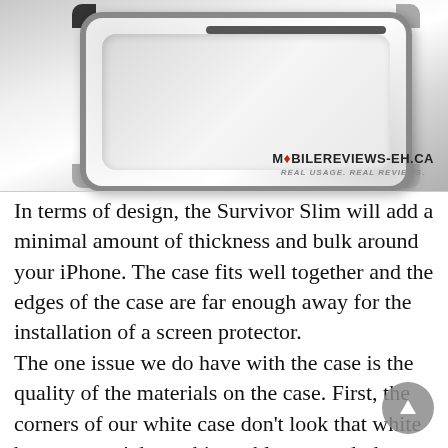[Figure (photo): Close-up photo of a clear/white iPhone protective case (Survivor Slim) lying flat, showing transparent back panel with reinforced bumper corners in black and silver. MobileReviews-Eh.ca watermark with maple leaf logo and tagline 'Real Usage. Real Reviews.' visible in lower right.]
In terms of design, the Survivor Slim will add a minimal amount of thickness and bulk around your iPhone. The case fits well together and the edges of the case are far enough away for the installation of a screen protector. The one issue we do have with the case is the quality of the materials on the case. First, the corners of our white case don't look that white but you won't have this problem on a dark coloured